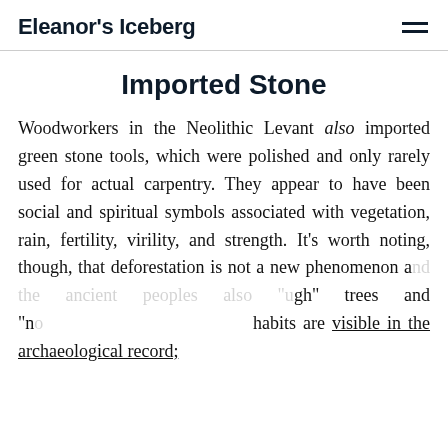Eleanor's Iceberg
Imported Stone
Woodworkers in the Neolithic Levant also imported green stone tools, which were polished and only rarely used for actual carpentry. They appear to have been social and spiritual symbols associated with vegetation, rain, fertility, virility, and strength. It's worth noting, though, that deforestation is not a new phenomenon and the ancient peoples also "ugh" trees and "no... habits are visible in the archaeological record;